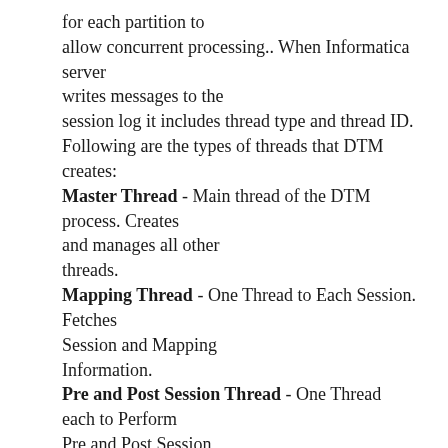for each partition to allow concurrent processing.. When Informatica server writes messages to the session log it includes thread type and thread ID. Following are the types of threads that DTM creates: Master Thread - Main thread of the DTM process. Creates and manages all other threads. Mapping Thread - One Thread to Each Session. Fetches Session and Mapping Information. Pre and Post Session Thread - One Thread each to Perform Pre and Post Session Operations. Reader Thread - One Thread for Each Partition for Each Source Pipeline. Writer Thread - One Thread for Each Partition if target exist in the source pipeline write to the target.